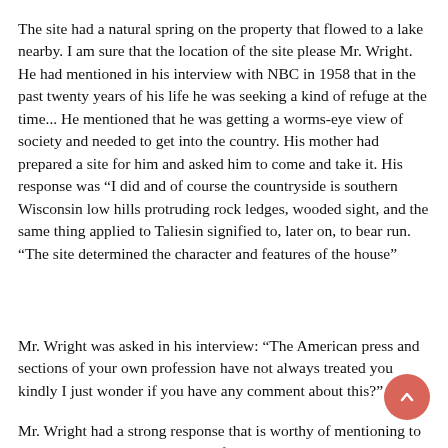The site had a natural spring on the property that flowed to a lake nearby. I am sure that the location of the site please Mr. Wright. He had mentioned in his interview with NBC in 1958 that in the past twenty years of his life he was seeking a kind of refuge at the time... He mentioned that he was getting a worms-eye view of society and needed to get into the country. His mother had prepared a site for him and asked him to come and take it. His response was “I did and of course the countryside is southern Wisconsin low hills protruding rock ledges, wooded sight, and the same thing applied to Taliesin signified to, later on, to bear run. “The site determined the character and features of the house”
Mr. Wright was asked in his interview: “The American press and sections of your own profession have not always treated you kindly I just wonder if you have any comment about this?”
Mr. Wright had a strong response that is worthy of mentioning to better understand the Architect of the Spring House: “Well I